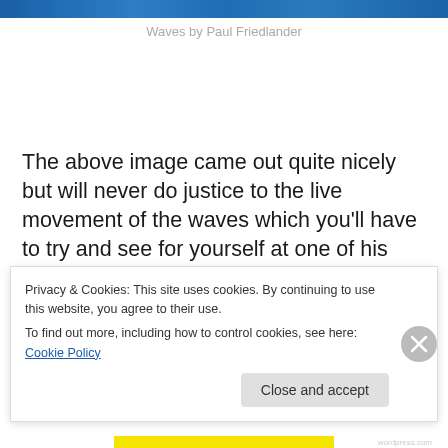[Figure (photo): Partial view of colorful wave artwork by Paul Friedlander, showing blue/purple glowing waves against dark background, cropped at top of page]
Waves by Paul Friedlander
The above image came out quite nicely but will never do justice to the live movement of the waves which you'll have to try and see for yourself at one of his next events. The colours are beautiful and set against the dark background with minimal lighting really help them to stand out. They looked almost like spinning ropes twining around
Privacy & Cookies: This site uses cookies. By continuing to use this website, you agree to their use.
To find out more, including how to control cookies, see here: Cookie Policy
Close and accept